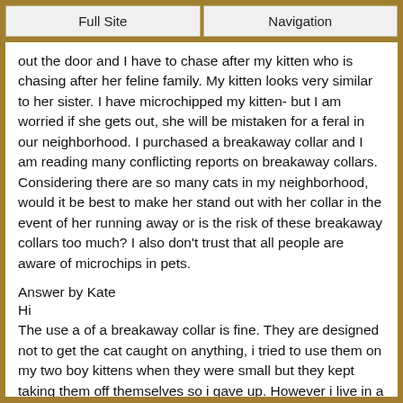Full Site | Navigation
out the door and I have to chase after my kitten who is chasing after her feline family. My kitten looks very similar to her sister. I have microchipped my kitten- but I am worried if she gets out, she will be mistaken for a feral in our neighborhood. I purchased a breakaway collar and I am reading many conflicting reports on breakaway collars. Considering there are so many cats in my neighborhood, would it be best to make her stand out with her collar in the event of her running away or is the risk of these breakaway collars too much? I also don't trust that all people are aware of microchips in pets.
Answer by Kate
Hi
The use a of a breakaway collar is fine. They are designed not to get the cat caught on anything, i tried to use them on my two boy kittens when they were small but they kept taking them off themselves so i gave up. However i live in a very